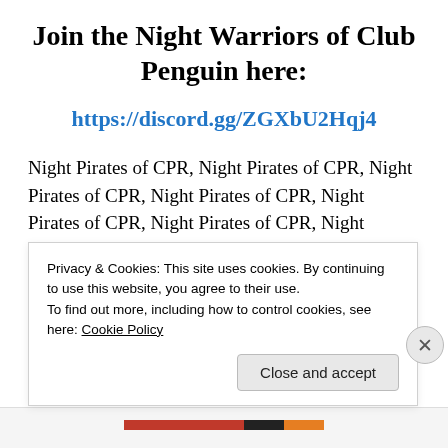Join the Night Warriors of Club Penguin here:
https://discord.gg/ZGXbU2Hqj4
Night Pirates of CPR, Night Pirates of CPR, Night Pirates of CPR, Night Pirates of CPR, Night Pirates of CPR, Night Pirates of CPR, Night Pirates of CPR, Night Pirates of CPR, Night Pirates of CPR, Night Pirates of CPR, Night Pirates of CPR, Night Pirates of
Privacy & Cookies: This site uses cookies. By continuing to use this website, you agree to their use. To find out more, including how to control cookies, see here: Cookie Policy
Close and accept